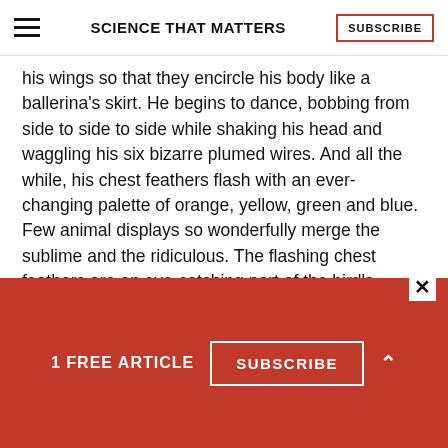SCIENCE THAT MATTERS
his wings so that they encircle his body like a ballerina's skirt. He begins to dance, bobbing from side to side to side while shaking his head and waggling his six bizarre plumed wires. And all the while, his chest feathers flash with an ever-changing palette of orange, yellow, green and blue. Few animal displays so wonderfully merge the sublime and the ridiculous. The flashing chest feathers are an eye-catching part of the bird's routine. Many birds,
1 FREE ARTICLE
SUBSCRIBE